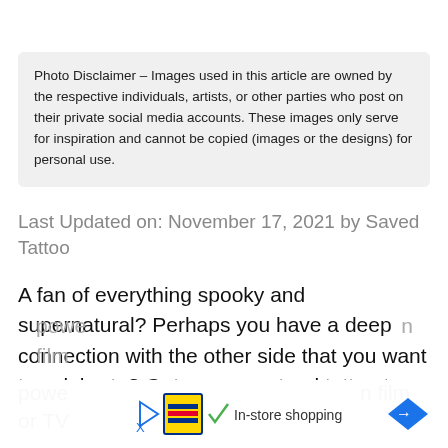Photo Disclaimer – Images used in this article are owned by the respective individuals, artists, or other parties who post on their private social media accounts. These images only serve for inspiration and cannot be copied (images or the designs) for personal use.
Last Updated on: November 17, 2021 by Saved Tattoo
A fan of everything spooky and supernatural? Perhaps you have a deep connection with the other side that you want to celebrate? Get a supernatural tattoo to represent your struggles, to embrace your powe… n film or TV…
[Figure (screenshot): Ad bar at the bottom showing Lidl store shopping advertisement with play button, Lidl logo, checkmark, 'In-store shopping' text, and a blue diamond navigation icon.]